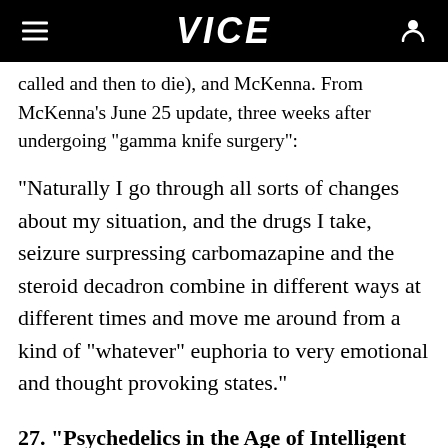VICE
called and then to die), and McKenna. From McKenna's June 25 update, three weeks after undergoing "gamma knife surgery":
"Naturally I go through all sorts of changes about my situation, and the drugs I take, seizure surpressing carbomazapine and the steroid decadron combine in different ways at different times and move me around from a kind of "whatever" euphoria to very emotional and thought provoking states."
27. "Psychedelics in the Age of Intelligent Machines" (1999)